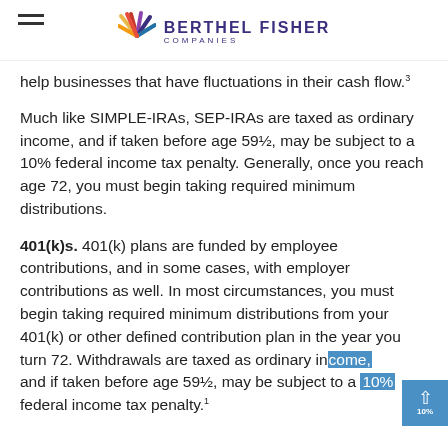BERTHEL FISHER COMPANIES
help businesses that have fluctuations in their cash flow.³
Much like SIMPLE-IRAs, SEP-IRAs are taxed as ordinary income, and if taken before age 59½, may be subject to a 10% federal income tax penalty. Generally, once you reach age 72, you must begin taking required minimum distributions.
401(k)s. 401(k) plans are funded by employee contributions, and in some cases, with employer contributions as well. In most circumstances, you must begin taking required minimum distributions from your 401(k) or other defined contribution plan in the year you turn 72. Withdrawals are taxed as ordinary income, and if taken before age 59½, may be subject to a 10% federal income tax penalty.¹